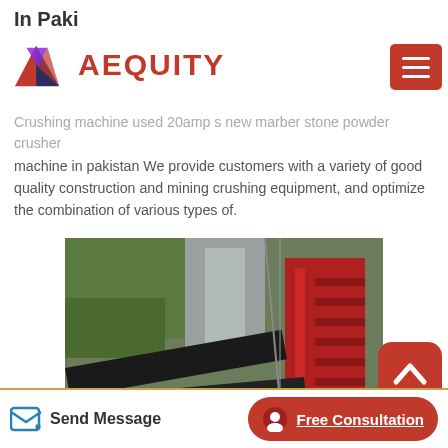In Paki
[Figure (logo): Aequity logo with geometric red/purple/dark shape and red AEQUITY text, with red hamburger menu button on the right]
Crushing machine used 20amp s new marber stone powder crusher machine in pakistan We provide customers with a variety of good quality construction and mining crushing equipment, and optimize the combination of various types of.
[Figure (photo): Industrial mining/crushing equipment with conveyors and red machinery, set against a green forested hillside. LIMING HEAVY INDUSTRY text visible on equipment.]
Send Message | Free Consultation